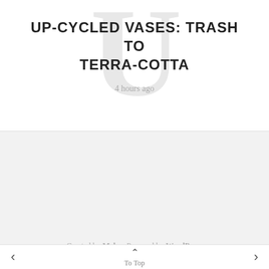UP-CYCLED VASES: TRASH TO TERRA-COTTA
4 hours ago
Created by Meks · Powered by WordPress
All rights reserved
< To Top >